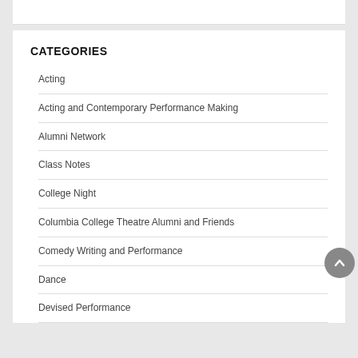CATEGORIES
Acting
Acting and Contemporary Performance Making
Alumni Network
Class Notes
College Night
Columbia College Theatre Alumni and Friends
Comedy Writing and Performance
Dance
Devised Performance